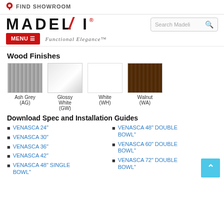FIND SHOWROOM
[Figure (logo): MADELI logo with registered trademark, red accent slash on I, tagline Functional Elegance™, Search Madeli search box, red MENU button]
Wood Finishes
[Figure (illustration): Four wood finish swatches: Ash Grey (AG), Glossy White (GW), White (WH), Walnut (WA)]
Download Spec and Installation Guides
VENASCA 24"
VENASCA 30"
VENASCA 36"
VENASCA 42"
VENASCA 48" SINGLE BOWL"
VENASCA 48" DOUBLE BOWL"
VENASCA 60" DOUBLE BOWL"
VENASCA 72" DOUBLE BOWL"